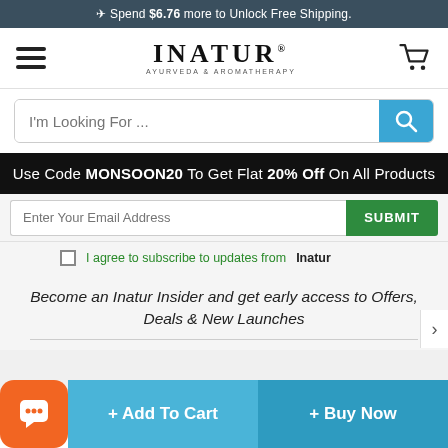✈ Spend $6.76 more to Unlock Free Shipping.
[Figure (logo): INATUR AYURVEDA & AROMATHERAPY logo with hamburger menu and cart icon]
I'm Looking For ...
Use Code MONSOON20 To Get Flat 20% Off On All Products
Enter Your Email Address
SUBMIT
I agree to subscribe to updates from  Inatur
Become an Inatur Insider and get early access to Offers, Deals & New Launches
Rewards Program
4  Visitor Right Now
+ Add To Cart
+ Buy Now